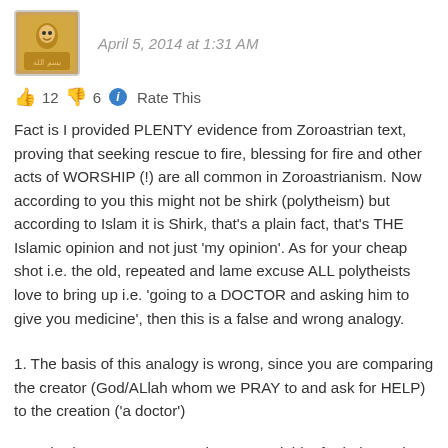April 5, 2014 at 1:31 AM
12  6  Rate This
Fact is I provided PLENTY evidence from Zoroastrian text, proving that seeking rescue to fire, blessing for fire and other acts of WORSHIP (!) are all common in Zoroastrianism. Now according to you this might not be shirk (polytheism) but according to Islam it is Shirk, that's a plain fact, that's THE Islamic opinion and not just 'my opinion'. As for your cheap shot i.e. the old, repeated and lame excuse ALL polytheists love to bring up i.e. 'going to a DOCTOR and asking him to give you medicine', then this is a false and wrong analogy.
1. The basis of this analogy is wrong, since you are comparing the creator (God/ALlah whom we PRAY to and ask for HELP) to the creation ('a doctor')
2. Nobody goes to a DEAD doctor to ask him for help, or do you go the the grave to your passed away medic and ask him for help?
3. Whatever we as Muslim (true monotheists) ask from the creation (Doctors, Mothers, friends etc.) is not shirk by definition, because